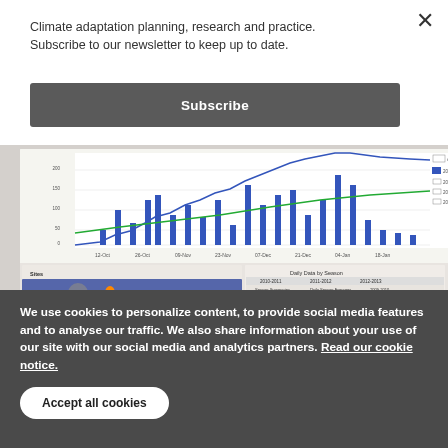Climate adaptation planning, research and practice. Subscribe to our newsletter to keep up to date.
Subscribe
[Figure (screenshot): Screenshot of a web application showing climate/rainfall data for Kenya. Top portion shows a line and bar chart with precipitation data over time (Oct–Jan). Bottom portion shows a map of Kenya with location pins and a data table showing Daily Data by Season with columns for 2010-2011, 2011-2012, and 2012-2013 seasons, including Date, Precipitation (mm), Accumulative Precipitation (mm), and Minimum data.]
We use cookies to personalize content, to provide social media features and to analyse our traffic. We also share information about your use of our site with our social media and analytics partners. Read our cookie notice.
Accept all cookies